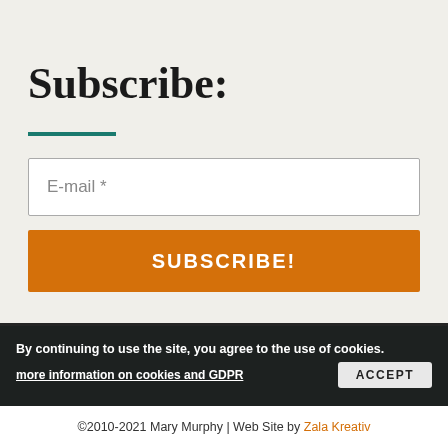Subscribe:
E-mail *
SUBSCRIBE!
By continuing to use the site, you agree to the use of cookies.
more information on cookies and GDPR
ACCEPT
©2010-2021 Mary Murphy | Web Site by Zala Kreativ